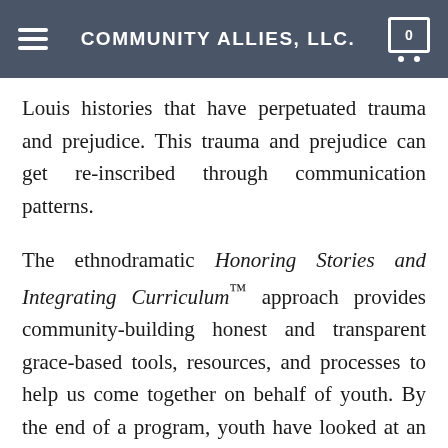COMMUNITY ALLIES, LLC.
Louis histories that have perpetuated trauma and prejudice. This trauma and prejudice can get re-inscribed through communication patterns.
The ethnodramatic Honoring Stories and Integrating Curriculum™ approach provides community-building honest and transparent grace-based tools, resources, and processes to help us come together on behalf of youth. By the end of a program, youth have looked at an issue from so many angles that they exercise tremendous creativity as they handle the